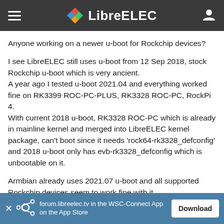LibreELEC
Anyone working on a newer u-boot for Rockchip devices?
I see LibreELEC still uses u-boot from 12 Sep 2018, stock Rockchip u-boot which is very ancient.
A year ago I tested u-boot 2021.04 and everything worked fine on RK3399 ROC-PC-PLUS, RK3328 ROC-PC, RockPi 4.
With current 2018 u-boot, RK3328 ROC-PC which is already in mainline kernel and merged into LibreELEC kernel package, can't boot since it needs 'rock64-rk3328_defconfig' and 2018 u-boot only has evb-rk3328_defconfig which is unbootable on it.
Armbian already uses 2021.07 u-boot and all supported Rockchip devices seem to work fine with it.
Perhaps it's packages and patches can be used by LE?
It's sad to see only Amlogic, Allwinner, Samsung, NXP devices'
forum.libreelec.tv in the WSC-Connect App on the App Store  Download